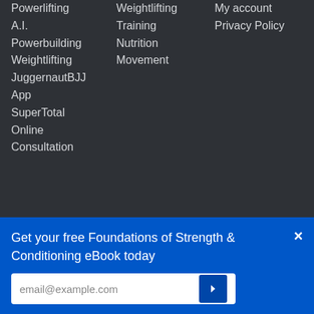Powerlifting
A.I.
Powerbuilding
Weightlifting
JuggernautBJJ
App
SuperTotal
Online
Consultation
Weightlifting
Training
Nutrition
Movement
My account
Privacy Policy
Connect
Instagram
YouTube
Get your free Foundations of Strength & Conditioning eBook today
email@example.com